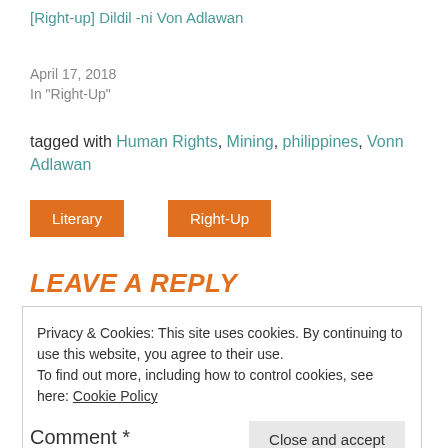[Right-up] Dildil -ni Von Adlawan
April 17, 2018
In "Right-Up"
tagged with Human Rights, Mining, philippines, Vonn Adlawan
Literary
Right-Up
LEAVE A REPLY
Privacy & Cookies: This site uses cookies. By continuing to use this website, you agree to their use.
To find out more, including how to control cookies, see here: Cookie Policy
Close and accept
Comment *